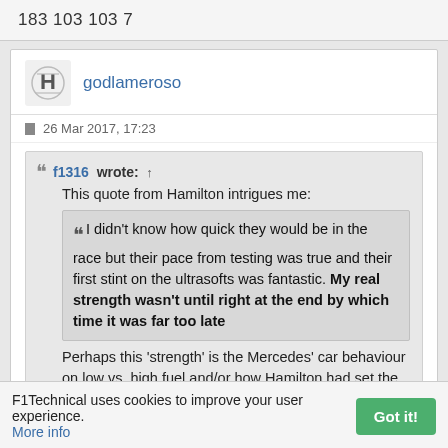183 103 103 7
godlameroso
26 Mar 2017, 17:23
f1316 wrote: ↑
This quote from Hamilton intrigues me:

❝ I didn't know how quick they would be in the race but their pace from testing was true and their first stint on the ultrasofts was fantastic. My real strength wasn't until right at the end by which time it was far too late

Perhaps this 'strength' is the Mercedes' car behaviour on low vs. high fuel and/or how Hamilton had set the car up (favouring track position from quail over tyre management)?
F1Technical uses cookies to improve your user experience. More info